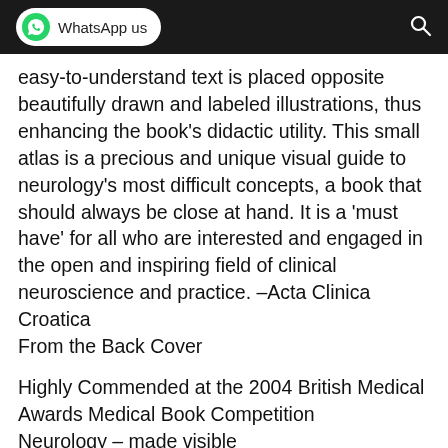WhatsApp us
easy-to-understand text is placed opposite beautifully drawn and labeled illustrations, thus enhancing the book's didactic utility. This small atlas is a precious and unique visual guide to neurology's most difficult concepts, a book that should always be close at hand. It is a 'must have' for all who are interested and engaged in the open and inspiring field of clinical neuroscience and practice. –Acta Clinica Croatica
From the Back Cover
Highly Commended at the 2004 British Medical Awards Medical Book Competition
Neurology – made visible
Every practitioner in modern medicine is